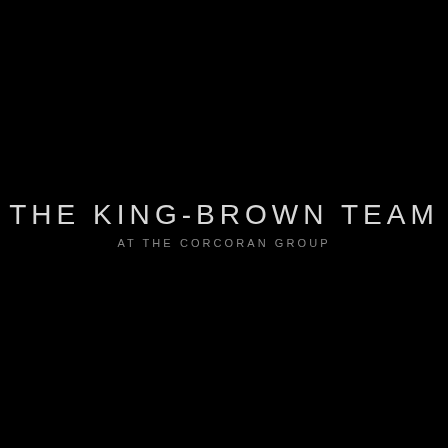[Figure (logo): The King-Brown Team at The Corcoran Group logo — white/light gray text on solid black background. Main line: 'THE KING-BROWN TEAM' in large light-weight uppercase spaced letters. Subtitle: 'AT THE CORCORAN GROUP' in smaller, more spaced gray uppercase letters below.]